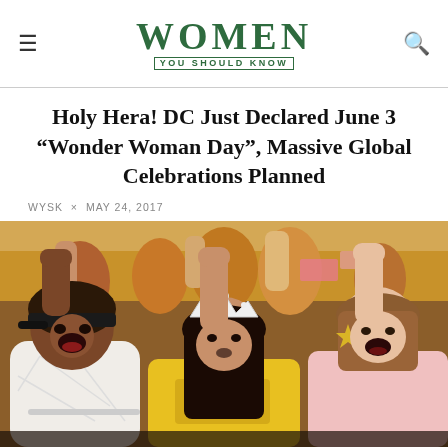WOMEN YOU SHOULD KNOW
Holy Hera! DC Just Declared June 3 “Wonder Woman Day”, Massive Global Celebrations Planned
WYSK × MAY 24, 2017
[Figure (photo): Group of young girls with fists raised, wearing costumes and yellow t-shirts, shouting with expressions of empowerment. Three girls in the foreground: left girl in white dress with dark baseball cap, center girl with tiara, right girl in pink top with face paint.]